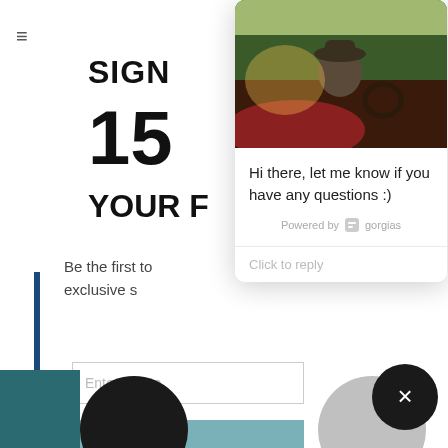[Figure (screenshot): Website popup screenshot showing a sign-up offer for 15% off with email input, overlaid by a chat widget (Gorgias) featuring a man in a car photo and message 'Hi there, let me know if you have any questions :)'. Background shows partial website content with hamburger menu, bold heading text 'SIGN', '15', 'YOUR F', email input field, and teal button. A close button (dark circle with X) is visible bottom right.]
Hi there, let me know if you have any questions :)
Powered by gorgias
Click to reply
SIGN
15
YOUR F
Be the first to exclusive s
Enter your e
*15% off code will be sent to email address submitted above. Some exclusions apply.